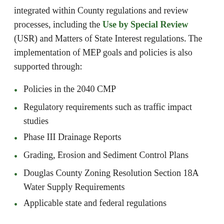integrated within County regulations and review processes, including the Use by Special Review (USR) and Matters of State Interest regulations. The implementation of MEP goals and policies is also supported through:
Policies in the 2040 CMP
Regulatory requirements such as traffic impact studies
Phase III Drainage Reports
Grading, Erosion and Sediment Control Plans
Douglas County Zoning Resolution Section 18A Water Supply Requirements
Applicable state and federal regulations